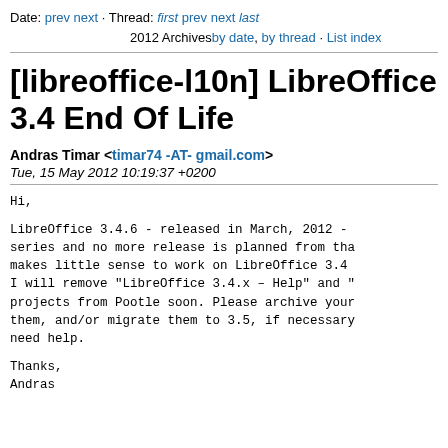Date: prev next · Thread: first prev next last
2012 Archives by date, by thread · List index
[libreoffice-l10n] LibreOffice 3.4 End Of Life
Andras Timar <timar74 -AT- gmail.com>
Tue, 15 May 2012 10:19:37 +0200
Hi,

LibreOffice 3.4.6 - released in March, 2012 - series and no more release is planned from tha makes little sense to work on LibreOffice 3.4 I will remove "LibreOffice 3.4.x – Help" and " projects from Pootle soon. Please archive your them, and/or migrate them to 3.5, if necessary need help.

Thanks,
Andras